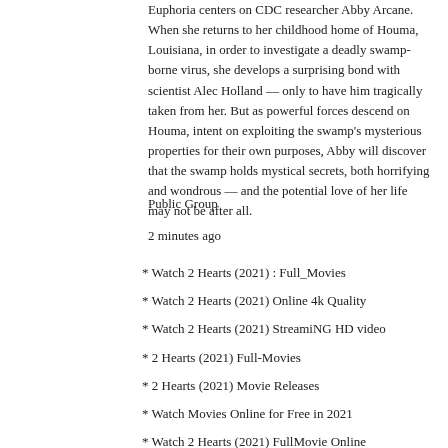Euphoria centers on CDC researcher Abby Arcane. When she returns to her childhood home of Houma, Louisiana, in order to investigate a deadly swamp-borne virus, she develops a surprising bond with scientist Alec Holland — only to have him tragically taken from her. But as powerful forces descend on Houma, intent on exploiting the swamp's mysterious properties for their own purposes, Abby will discover that the swamp holds mystical secrets, both horrifying and wondrous — and the potential love of her life may not be after all.
Public Group
2 minutes ago
* Watch 2 Hearts (2021) : Full_Movies
* Watch 2 Hearts (2021) Online 4k Quality
* Watch 2 Hearts (2021) StreamiNG HD video
* 2 Hearts (2021) Full-Movies
* 2 Hearts (2021) Movie Releases
* Watch Movies Online for Free in 2021
* Watch 2 Hearts (2021) FullMovie Online
* 2 Hearts (2021) full Movie Watch Online